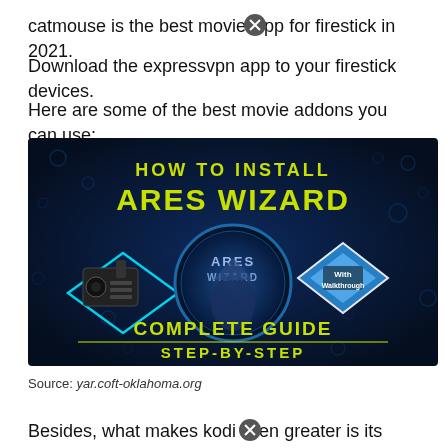catmouse is the best movie app for firestick in 2021.
Download the expressvpn app to your firestick devices.
Here are some of the best movie addons you can use:
[Figure (screenshot): Thumbnail image showing 'How to Install Ares Wizard - Complete Guide Step-by-Step with Walkthrough' on a dark blue background with Kodi logo and Amazon Fire Stick device.]
Source: yar.coft-oklahoma.org
Besides, what makes kodi even greater is its price tag